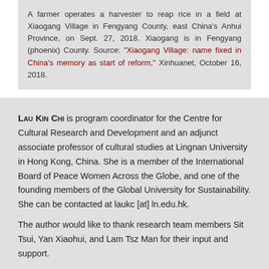A farmer operates a harvester to reap rice in a field at Xiaogang Village in Fengyang County, east China's Anhui Province, on Sept. 27, 2018. Xiaogang is in Fengyang (phoenix) County. Source: "Xiaogang Village: name fixed in China's memory as start of reform," Xinhuanet, October 16, 2018.
Lau Kin Chi is program coordinator for the Centre for Cultural Research and Development and an adjunct associate professor of cultural studies at Lingnan University in Hong Kong, China. She is a member of the International Board of Peace Women Across the Globe, and one of the founding members of the Global University for Sustainability. She can be contacted at laukc [at] ln.edu.hk.
The author would like to thank research team members Sit Tsui, Yan Xiaohui, and Lam Tsz Man for their input and support.